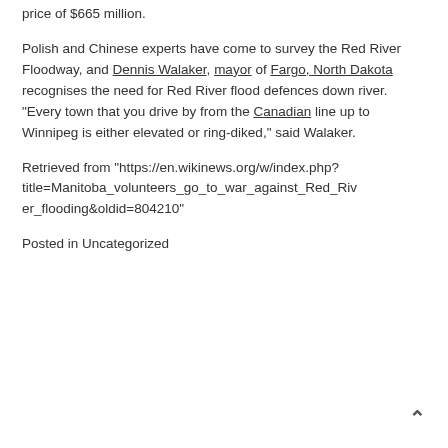price of $665 million.
Polish and Chinese experts have come to survey the Red River Floodway, and Dennis Walaker, mayor of Fargo, North Dakota recognises the need for Red River flood defences down river. "Every town that you drive by from the Canadian line up to Winnipeg is either elevated or ring-diked," said Walaker.
Retrieved from "https://en.wikinews.org/w/index.php?title=Manitoba_volunteers_go_to_war_against_Red_River_flooding&oldid=804210"
Posted in Uncategorized